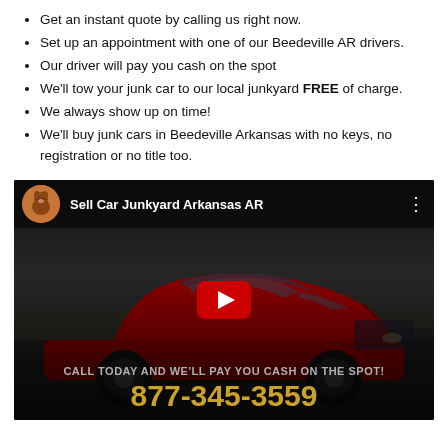Get an instant quote by calling us right now.
Set up an appointment with one of our Beedeville AR drivers.
Our driver will pay you cash on the spot
We'll tow your junk car to our local junkyard FREE of charge.
We always show up on time!
We'll buy junk cars in Beedeville Arkansas with no keys, no registration or no title too.
[Figure (screenshot): YouTube video thumbnail showing a red sports car (Camaro) with a YouTube play button overlay. The video title reads 'Sell Car Junkyard Arkansas AR'. At the bottom: 'CALL TODAY AND WE'LL PAY YOU CASH ON THE SPOT!' and phone number '877-345-3559' in gold text.]